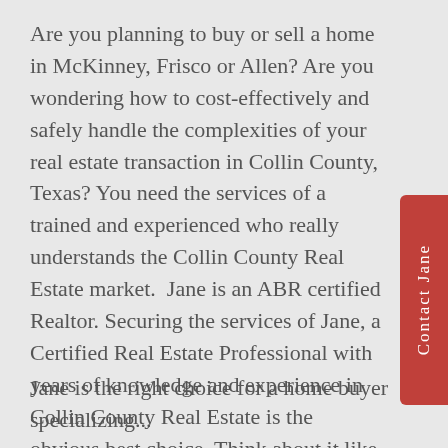Are you planning to buy or sell a home in McKinney, Frisco or Allen? Are you wondering how to cost-effectively and safely handle the complexities of your real estate transaction in Collin County, Texas? You need the services of a trained and experienced who really understands the Collin County Real Estate market.  Jane is an ABR certified Realtor. Securing the services of Jane, a Certified Real Estate Professional with years of knowledge and experience in Collin County Real Estate is the obvious best choice. Think about it like this, a professional realtor is similar to using an accountant to help you with your taxes, a doctor to help with your health care, or a mechanic to help you with your car. Jane's knowledge and skill as a professional negotiator will pay dividends in peace of mind and put cash in your pocket.
[Figure (other): Red vertical tab on the right side of the page with text 'Contact Jane' written vertically]
Jane is the right choice for a home buyer specializing...